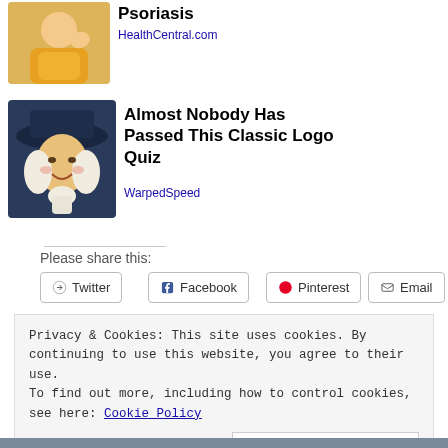[Figure (photo): Person wearing a yellow sweater, partially visible, with hand shown, possibly showing skin condition]
Psoriasis
HealthCentral.com
[Figure (illustration): Illustrated character wearing a dark wide-brim hat and white colonial-style cravat, smiling]
Almost Nobody Has Passed This Classic Logo Quiz
WarpedSpeed
Please share this:
Twitter
Facebook
Pinterest
Email
Privacy & Cookies: This site uses cookies. By continuing to use this website, you agree to their use.
To find out more, including how to control cookies, see here: Cookie Policy
Close and accept